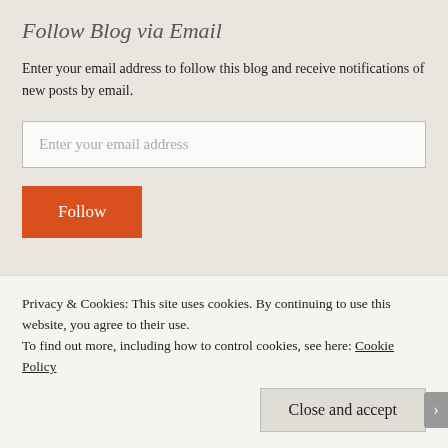Follow Blog via Email
Enter your email address to follow this blog and receive notifications of new posts by email.
Enter your email address
Follow
Join 11,612 other followers
Follow me on Twitter
Privacy & Cookies: This site uses cookies. By continuing to use this website, you agree to their use.
To find out more, including how to control cookies, see here: Cookie Policy
Close and accept